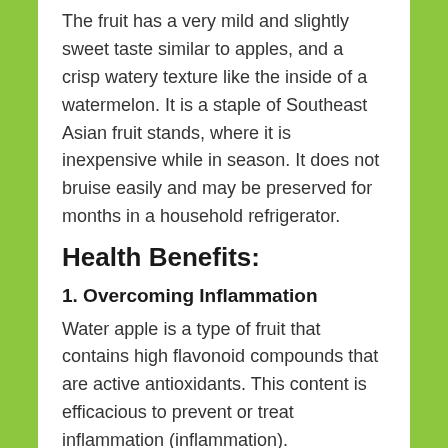The fruit has a very mild and slightly sweet taste similar to apples, and a crisp watery texture like the inside of a watermelon. It is a staple of Southeast Asian fruit stands, where it is inexpensive while in season. It does not bruise easily and may be preserved for months in a household refrigerator.
Health Benefits:
1. Overcoming Inflammation
Water apple is a type of fruit that contains high flavonoid compounds that are active antioxidants. This content is efficacious to prevent or treat inflammation (inflammation).